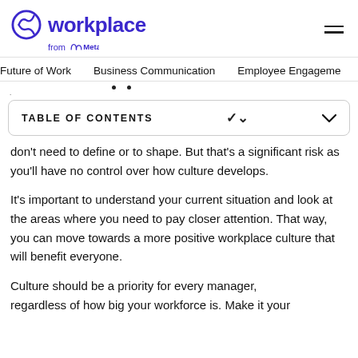Workplace from Meta
Future of Work   Business Communication   Employee Engagement
| TABLE OF CONTENTS |
| --- |
don't need to define or to shape. But that's a significant risk as you'll have no control over how culture develops.
It's important to understand your current situation and look at the areas where you need to pay closer attention. That way, you can move towards a more positive workplace culture that will benefit everyone.
Culture should be a priority for every manager, regardless of how big your workforce is. Make it your